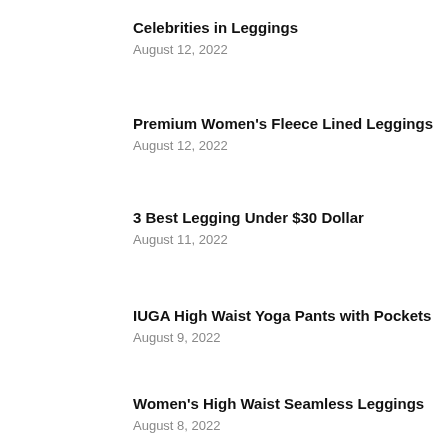Celebrities in Leggings
August 12, 2022
Premium Women's Fleece Lined Leggings
August 12, 2022
3 Best Legging Under $30 Dollar
August 11, 2022
IUGA High Waist Yoga Pants with Pockets
August 9, 2022
Women's High Waist Seamless Leggings
August 8, 2022